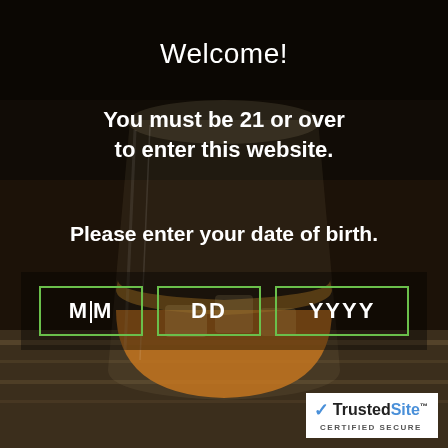[Figure (photo): Dark background with a glass of whiskey on a wooden surface, amber liquid with ice cubes]
Welcome!
You must be 21 or over to enter this website.
Please enter your date of birth.
[Figure (other): Three input boxes for date of birth: MM, DD, YYYY with green borders]
[Figure (logo): TrustedSite Certified Secure badge]